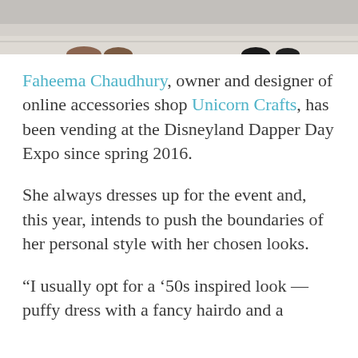[Figure (photo): Bottom portion of a photo showing shoes/feet on a floor surface]
Faheema Chaudhury, owner and designer of online accessories shop Unicorn Crafts, has been vending at the Disneyland Dapper Day Expo since spring 2016.
She always dresses up for the event and, this year, intends to push the boundaries of her personal style with her chosen looks.
“I usually opt for a ’50s inspired look — puffy dress with a fancy hairdo and a